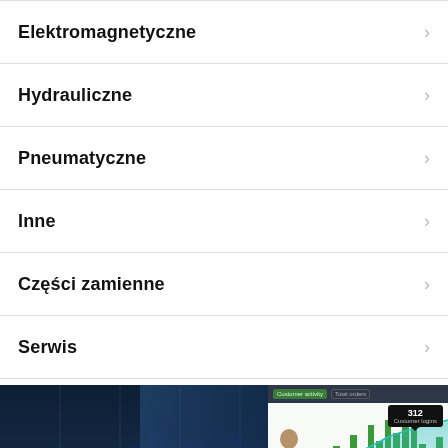Elektromagnetyczne
Hydrauliczne
Pneumatyczne
Inne
Części zamienne
Serwis
[Figure (photo): Left half: business people silhouettes standing in front of large windows overlooking a city at night with blue light. Right half: analytics dashboard screenshot showing green bar chart with teal area overlay, a tooltip showing '312 customer logins', and '$12,230' text at the bottom, with a presenter pointing at the screen.]